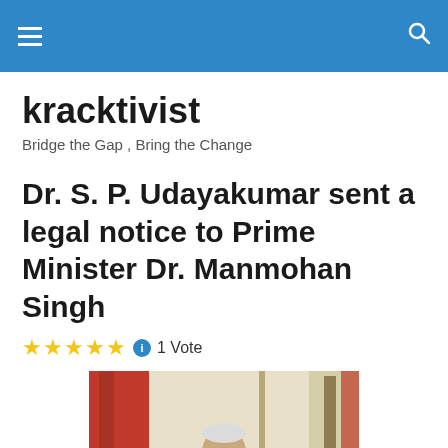kracktivist — navigation bar with hamburger menu and search icon
kracktivist
Bridge the Gap , Bring the Change
Dr. S. P. Udayakumar sent a legal notice to Prime Minister Dr. Manmohan Singh
★★★★★ ℹ 1 Vote
[Figure (photo): Photograph of Dr. Manmohan Singh seated with red and decorative background elements visible]